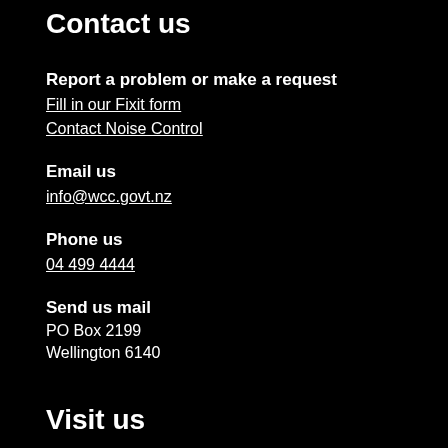Contact us
Report a problem or make a request
Fill in our Fixit form
Contact Noise Control
Email us
info@wcc.govt.nz
Phone us
04 499 4444
Send us mail
PO Box 2199
Wellington 6140
Visit us